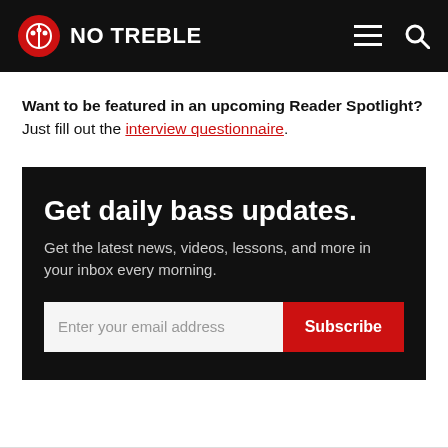NO TREBLE
Want to be featured in an upcoming Reader Spotlight? Just fill out the interview questionnaire.
Get daily bass updates. Get the latest news, videos, lessons, and more in your inbox every morning.
Enter your email address  Subscribe